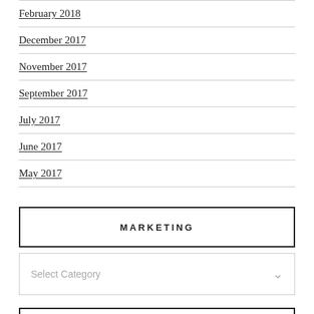February 2018
December 2017
November 2017
September 2017
July 2017
June 2017
May 2017
MARKETING
Select Category